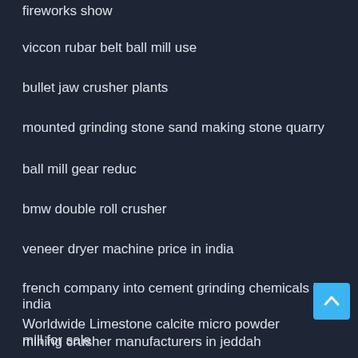fireworks show
viccon rubar belt ball mill use
bullet jaw crusher plants
mounted grinding stone sand making stone quarry
ball mill gear reduc
bmw double roll crusher
veneer dryer machine price in india
french company into cement grinding chemicals in india
Worldwide Limestone calcite micro powder mill for sale
mining crusher manufacturers in jeddah